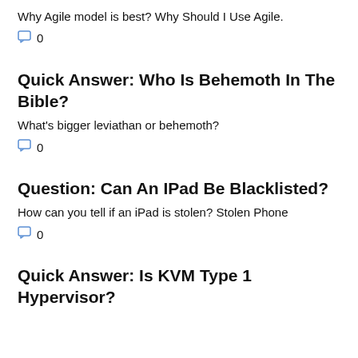Why Agile model is best? Why Should I Use Agile.
0
Quick Answer: Who Is Behemoth In The Bible?
What's bigger leviathan or behemoth?
0
Question: Can An IPad Be Blacklisted?
How can you tell if an iPad is stolen? Stolen Phone
0
Quick Answer: Is KVM Type 1 Hypervisor?